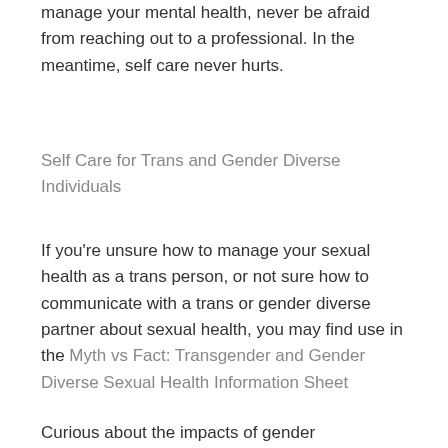specifically, but do need to do more to manage your mental health, never be afraid from reaching out to a professional. In the meantime, self care never hurts.
Self Care for Trans and Gender Diverse Individuals
If you're unsure how to manage your sexual health as a trans person, or not sure how to communicate with a trans or gender diverse partner about sexual health, you may find use in the Myth vs Fact: Transgender and Gender Diverse Sexual Health Information Sheet
Curious about the impacts of gender